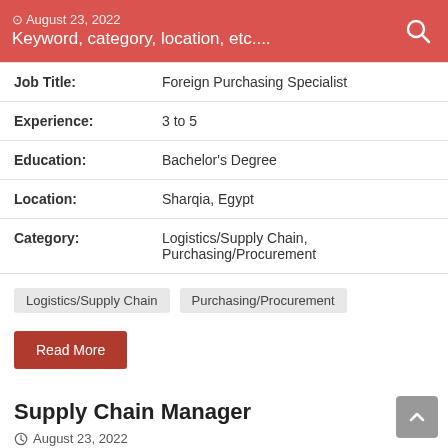August 23, 2022 | Keyword, category, location, etc....
| Field | Value |
| --- | --- |
| Job Title: | Foreign Purchasing Specialist |
| Experience: | 3 to 5 |
| Education: | Bachelor's Degree |
| Location: | Sharqia, Egypt |
| Category: | Logistics/Supply Chain, Purchasing/Procurement |
Logistics/Supply Chain
Purchasing/Procurement
Read More
Supply Chain Manager
August 23, 2022
| Field | Value |
| --- | --- |
| Job Title: | Supply Chain Manager |
| Employer: | sofipack |
| Experience: | 10 to 12 |